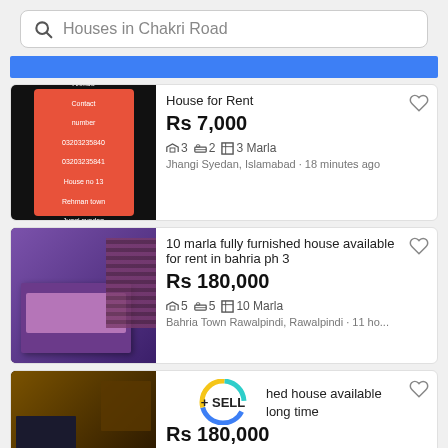Houses in Chakri Road
[Figure (screenshot): Blue banner bar]
[Figure (photo): Listing image: phone screenshot showing red/orange contact card for Qazi Awais Ahmed, House no 13, Rehman town, Jungi syedan, Islamabad]
House for Rent
Rs 7,000
3  2  3 Marla
Jhangi Syedan, Islamabad • 18 minutes ago
[Figure (photo): Listing image: furnished bedroom with purple/pink bedding and curtains]
10 marla fully furnished house available for rent in bahria ph 3
Rs 180,000
5  5  10 Marla
Bahria Town Rawalpindi, Rawalpindi • 11 ho...
[Figure (photo): Listing image: furnished living room with TV unit and sofa set]
+ SELL  hed house available  long time
Rs 180,000